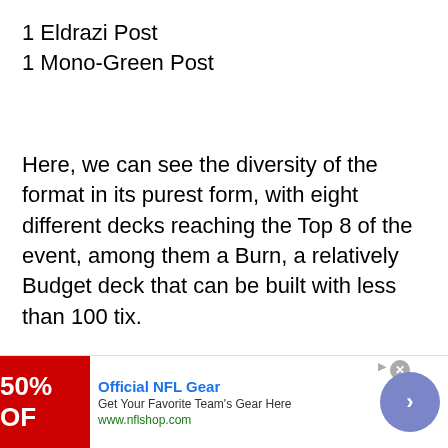1 Eldrazi Post
1 Mono-Green Post
Here, we can see the diversity of the format in its purest form, with eight different decks reaching the Top 8 of the event, among them a Burn, a relatively Budget deck that can be built with less than 100 tix.
Despite the skepticism that the archetype can bring, because it demands much more on...